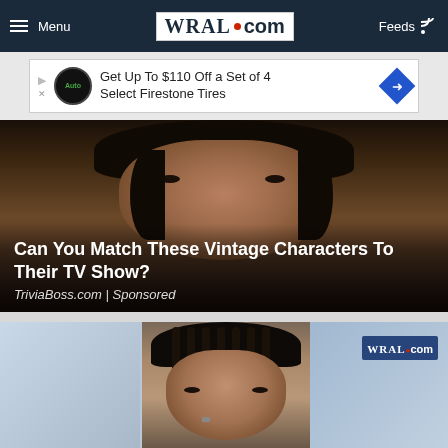Menu | WRAL.com | Feeds
[Figure (screenshot): Advertisement banner: Get Up To $110 Off a Set of 4 Select Firestone Tires]
[Figure (photo): Close-up photo of a man's face with dark hair, overlaid with article title text]
Can You Match These Vintage Characters To Their TV Show?
TriviaBoss.com | Sponsored
[Figure (photo): Mugshot-style photo of a woman with braided hair against a neutral background, flanked by WRAL blue logo backgrounds]